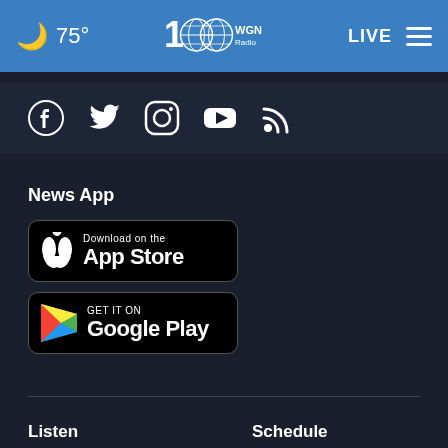75° WGN Radio LIVE
[Figure (logo): WGN Radio 100th anniversary logo with globe]
[Figure (infographic): Social media icons: Facebook, Twitter, Instagram, YouTube, RSS feed]
News App
[Figure (screenshot): Download on the App Store badge]
[Figure (screenshot): Get it on Google Play badge]
Listen
Schedule
News
Chicago Weather
Chicago Traffic
Sports